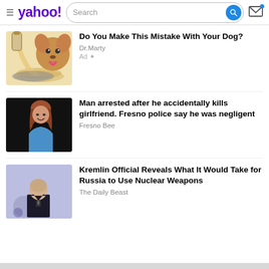yahoo! Search
Do You Make This Mistake With Your Dog?
Dr.Marty
Ad
Man arrested after he accidentally kills girlfriend. Fresno police say he was negligent
Fresno Bee
Kremlin Official Reveals What It Would Take for Russia to Use Nuclear Weapons
The Daily Beast